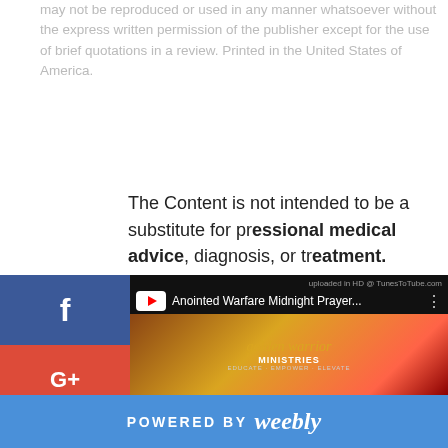may not be reproduced or used in any manner whatsoever without the express written permission of the publisher except for the use of brief quotations in a review. Printed in the United States of America.
The Content is not intended to be a substitute for professional medical advice, diagnosis, or treatment. Always seek the advice of your physician or other qualified health provider with any questions you may have regarding a medical condition.
[Figure (screenshot): Social media share buttons on the left side: Facebook (blue), Google+ (red), Twitter (light blue), Pinterest (dark red), Blogger (orange), More (...) (gray)]
[Figure (screenshot): Video thumbnail showing 'Anointed Warfare Midnight Prayer...' with Golden Warrior Ministries branding on dark background. Text 'uploaded in HD @ TunesToTube.com' appears at top right.]
POWERED BY weebly